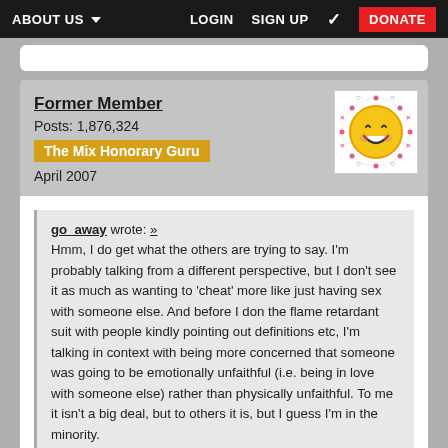ABOUT US  LOGIN  SIGN UP  DONATE
Former Member
Posts: 1,876,324
The Mix Honorary Guru
April 2007
go_away wrote: »
Hmm, I do get what the others are trying to say. I'm probably talking from a different perspective, but I don't see it as much as wanting to 'cheat' more like just having sex with someone else. And before I don the flame retardant suit with people kindly pointing out definitions etc, I'm talking in context with being more concerned that someone was going to be emotionally unfaithful (i.e. being in love with someone else) rather than physically unfaithful. To me it isn't a big deal, but to others it is, but I guess I'm in the minority.
Ah you posted before I did. Bah.